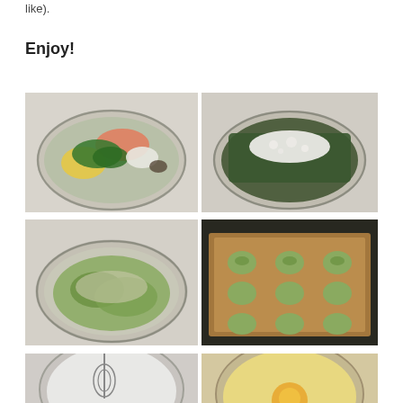like).
Enjoy!
[Figure (photo): Glass bowl with raw salmon, chopped spinach, egg, herbs and seasonings unmixed]
[Figure (photo): Glass bowl with spinach mixture and crumbled white cheese on top]
[Figure (photo): Glass bowl with fully mixed spinach and cheese mixture]
[Figure (photo): Baking sheet with formed spinach cheese balls arranged in rows]
[Figure (photo): Glass bowl with whisk showing white mixture]
[Figure (photo): Glass bowl with beaten egg yolk]